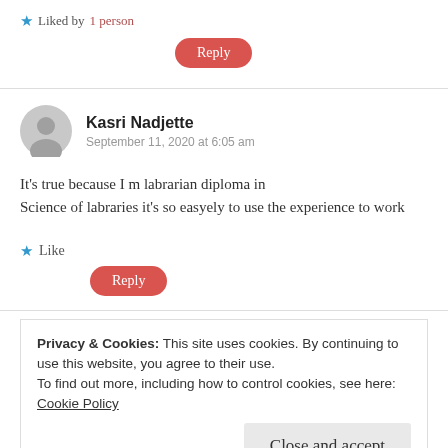★ Liked by 1 person
Reply
Kasri Nadjette
September 11, 2020 at 6:05 am
It's true because I m labrarian diploma in Science of labraries it's so easyely to use the experience to work
★ Like
Reply
Privacy & Cookies: This site uses cookies. By continuing to use this website, you agree to their use.
To find out more, including how to control cookies, see here:
Cookie Policy
Close and accept